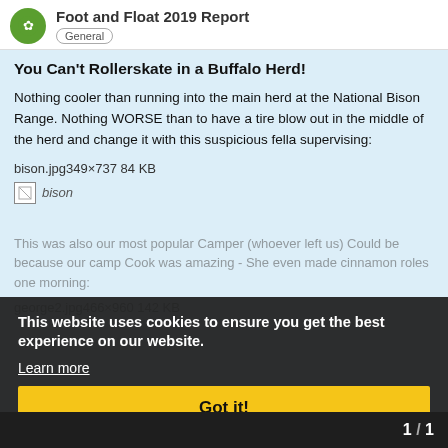Foot and Float 2019 Report — General
You Can't Rollerskate in a Buffalo Herd!
Nothing cooler than running into the main herd at the National Bison Range. Nothing WORSE than to have a tire blow out in the middle of the herd and change it with this suspicious fella supervising:
bison.jpg349×737 84 KB
[Figure (screenshot): Broken image placeholder labelled 'bison']
This was also our most popular Camper (whoever left us) Could be because our camp Cook was amazing - She even made cinnamon roles one morning:
george2.jpg466×960 142 KB
This website uses cookies to ensure you get the best experience on our website.
Learn more
Got it!
1 / 1